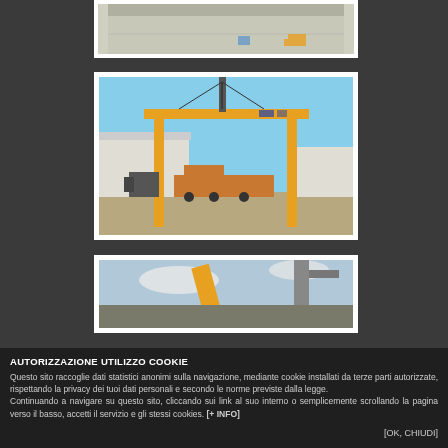[Figure (photo): Partial view of an industrial warehouse interior with a forklift visible in the background on a large floor area.]
[Figure (photo): An outdoor photo of a large yellow gantry crane structure set up at an industrial site with a truck below and buildings in the background under a blue sky.]
[Figure (photo): Partial photo showing a yellow crane arm against a partly cloudy sky with some structural elements visible.]
AUTORIZZAZIONE UTILIZZO COOKIE
Questo sito raccoglie dati statistici anonimi sulla navigazione, mediante cookie installati da terze parti autorizzate, rispettando la privacy dei tuoi dati personali e secondo le norme previste dalla legge.
Continuando a navigare su questo sito, cliccando sui link al suo interno o semplicemente scrollando la pagina verso il basso, accetti il servizio e gli stessi cookies. [+ INFO]